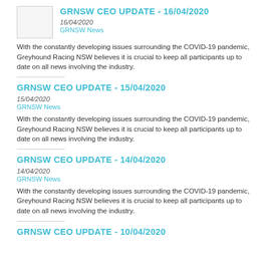[Figure (photo): Thumbnail image placeholder for GRNSW CEO Update 16/04/2020]
GRNSW CEO UPDATE - 16/04/2020
16/04/2020
GRNSW News
With the constantly developing issues surrounding the COVID-19 pandemic, Greyhound Racing NSW believes it is crucial to keep all participants up to date on all news involving the industry.
GRNSW CEO UPDATE - 15/04/2020
15/04/2020
GRNSW News
With the constantly developing issues surrounding the COVID-19 pandemic, Greyhound Racing NSW believes it is crucial to keep all participants up to date on all news involving the industry.
GRNSW CEO UPDATE - 14/04/2020
14/04/2020
GRNSW News
With the constantly developing issues surrounding the COVID-19 pandemic, Greyhound Racing NSW believes it is crucial to keep all participants up to date on all news involving the industry.
GRNSW CEO UPDATE - 10/04/2020